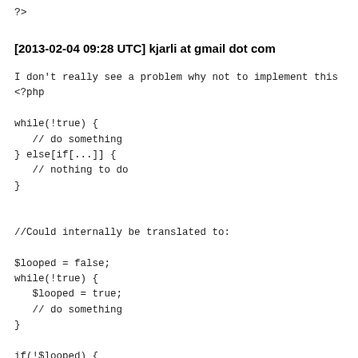?>
[2013-02-04 09:28 UTC] kjarli at gmail dot com
I don't really see a problem why not to implement this
<?php

while(!true) {
   // do something
} else[if[...]] {
   // nothing to do
}


//Could internally be translated to:

$looped = false;
while(!true) {
   $looped = true;
   // do something
}

if(!$looped) {
   // nothing to do